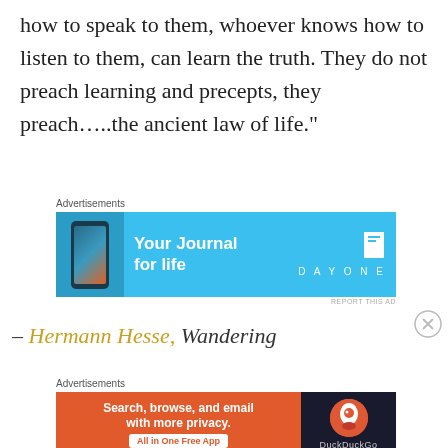how to speak to them, whoever knows how to listen to them, can learn the truth. They do not preach learning and precepts, they preach…..the ancient law of life."
[Figure (other): Advertisement banner for DayOne journal app with blue background, phone image, text 'Your Journal for life' and DAYONE logo]
— Hermann Hesse, Wandering
[Figure (other): Advertisement banner for DuckDuckGo app with orange background, text 'Search, browse, and email with more privacy. All in One Free App' and DuckDuckGo logo on dark background]